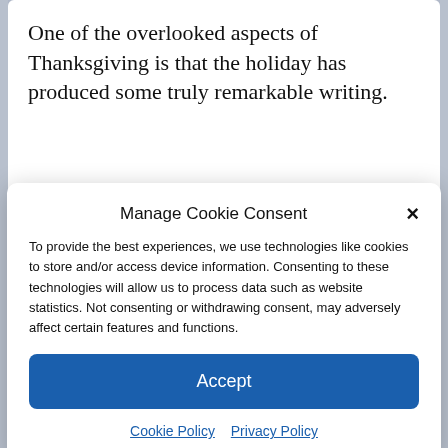One of the overlooked aspects of Thanksgiving is that the holiday has produced some truly remarkable writing.
Manage Cookie Consent
To provide the best experiences, we use technologies like cookies to store and/or access device information. Consenting to these technologies will allow us to process data such as website statistics. Not consenting or withdrawing consent, may adversely affect certain features and functions.
Accept
Cookie Policy  Privacy Policy
poems and sayings for your literary edification. Enjoy!